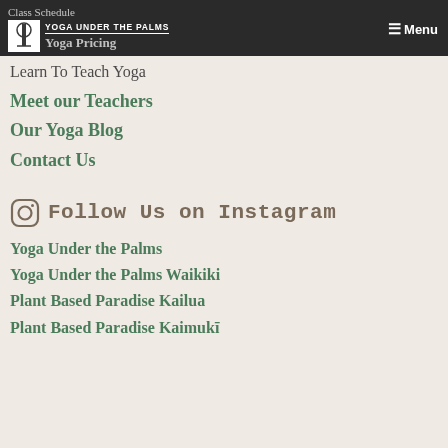Class Schedule | Yoga Under the Palms (logo) | Menu
Class Schedule
Yoga Pricing
Learn To Teach Yoga
Meet our Teachers
Our Yoga Blog
Contact Us
Follow Us on Instagram
Yoga Under the Palms
Yoga Under the Palms Waikiki
Plant Based Paradise Kailua
Plant Based Paradise Kaimukī